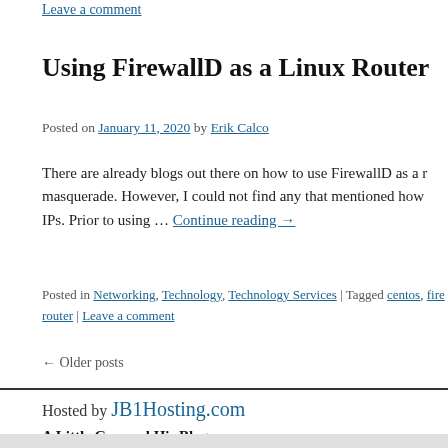Leave a comment
Using FirewallD as a Linux Router
Posted on January 11, 2020 by Erik Calco
There are already blogs out there on how to use FirewallD as a router masquerade. However, I could not find any that mentioned how IPs. Prior to using … Continue reading →
Posted in Networking, Technology, Technology Services | Tagged centos, fire router | Leave a comment
← Older posts
Hosted by JB1Hosting.com
A Little Guy and His Blog